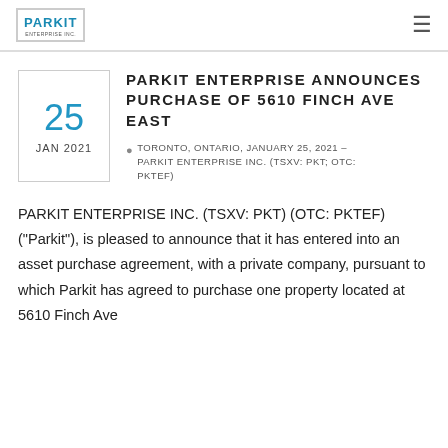PARKIT ENTERPRISE INC.
PARKIT ENTERPRISE ANNOUNCES PURCHASE OF 5610 FINCH AVE EAST
TORONTO, ONTARIO, JANUARY 25, 2021 – PARKIT ENTERPRISE INC. (TSXV: PKT; OTC: PKTEF)
PARKIT ENTERPRISE INC. (TSXV: PKT) (OTC: PKTEF) ("Parkit"), is pleased to announce that it has entered into an asset purchase agreement, with a private company, pursuant to which Parkit has agreed to purchase one property located at 5610 Finch Ave